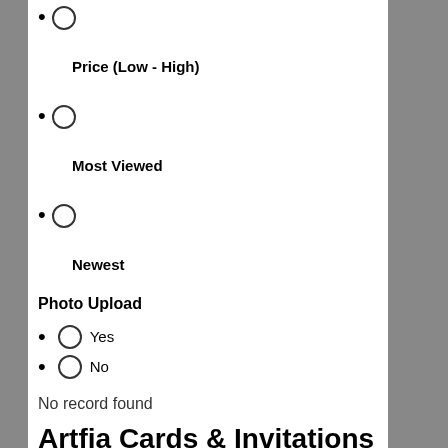Price (Low - High)
Most Viewed
Newest
Photo Upload
Yes
No
No record found
Artfia Cards & Invitations